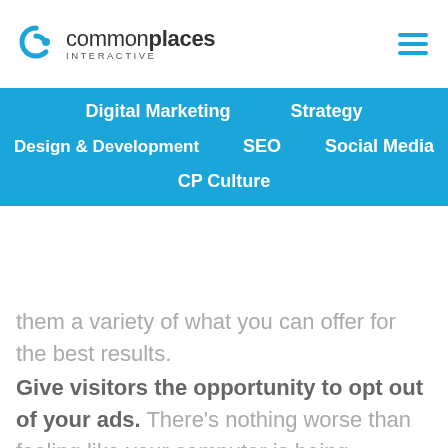Common Places Interactive
Digital Marketing | Strategy | Design & Development | SEO | Social Media | CP Culture
them a variety of what you can offer for the best results. Give visitors the opportunity to opt out of your ads. There's nothing worse than feeling like your computer is being attacked and all you see are ads for a t-shirt that you clicked on to get a